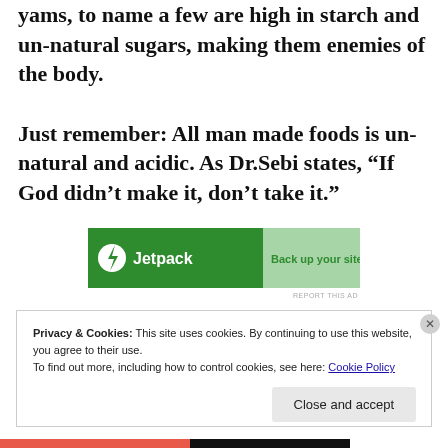yams, to name a few are high in starch and un-natural sugars, making them enemies of the body. Just remember: All man made foods is un-natural and acidic. As Dr.Sebi states, “If God didn’t make it, don’t take it.”
[Figure (other): Jetpack advertisement banner: green background with Jetpack logo and lightning bolt icon on the left, lighter green on the right with text 'Back up your site']
Privacy & Cookies: This site uses cookies. By continuing to use this website, you agree to their use.
To find out more, including how to control cookies, see here: Cookie Policy
Close and accept